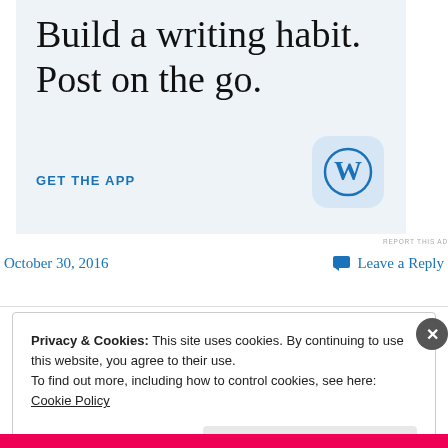[Figure (screenshot): WordPress app advertisement banner with light blue background. Large serif text reads 'Build a writing habit. Post on the go.' with 'GET THE APP' call to action in blue uppercase and a WordPress app icon (W logo in circle on light blue rounded square) in the bottom right.]
REPORT THIS AD
October 30, 2016
Leave a Reply
Privacy & Cookies: This site uses cookies. By continuing to use this website, you agree to their use.
To find out more, including how to control cookies, see here: Cookie Policy
Close and accept